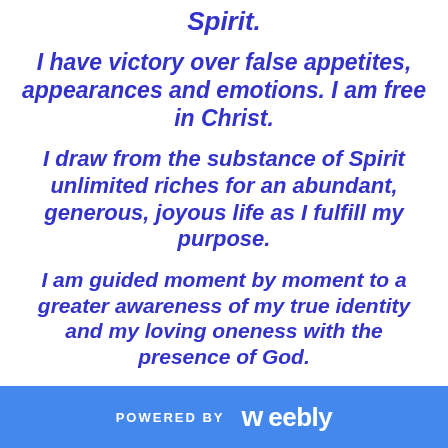Spirit.
I have victory over false appetites, appearances and emotions. I am free in Christ.
I draw from the substance of Spirit unlimited riches for an abundant, generous, joyous life as I fulfill my purpose.
I am guided moment by moment to a greater awareness of my true identity and my loving oneness with the presence of God.
POWERED BY weebly